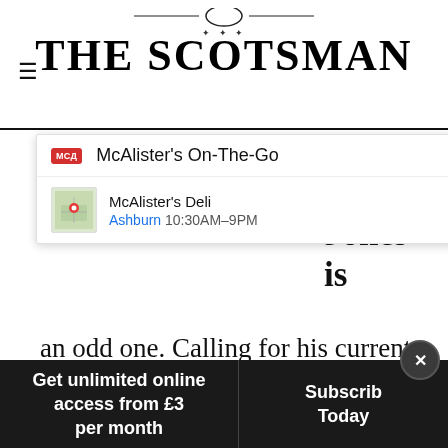THE SCOTSMAN
[Figure (screenshot): Google search dropdown showing McAlister's On-The-Go and McAlister's Deli location in Ashburn, 10:30AM-9PM with map thumbnail and navigation button]
year Eddie Jones is an odd one. Calling for his current side to “smash” his previous one when it was only going to motivate Japan to greater things. Maybe that is what he wanted? England need to go back to their power game, utilise their big runners and deny the opposition time and spa… na…
[Figure (screenshot): Petco advertisement showing In-store shopping and Curbside pickup options with Petco logo and blue diamond navigation icon]
Get unlimited online access from £3 per month   Subscribe Today